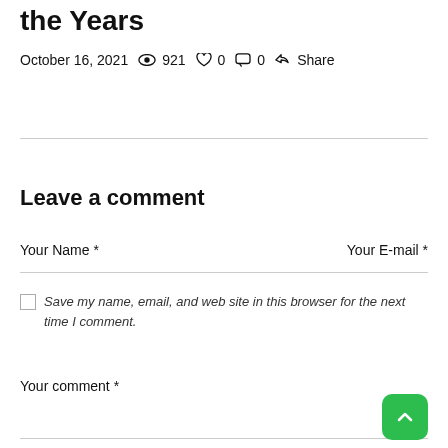the Years
October 16, 2021  👁 921  ♡ 0  💬 0  < Share
Leave a comment
Your Name *
Your E-mail *
Save my name, email, and web site in this browser for the next time I comment.
Your comment *